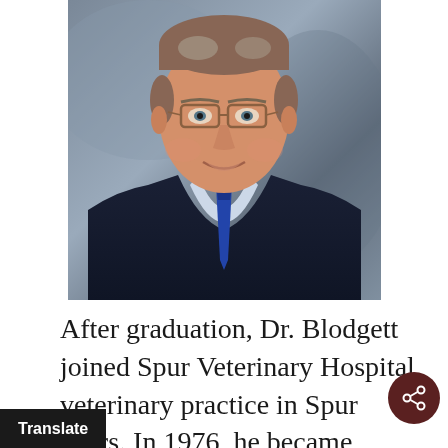[Figure (photo): Professional headshot of Dr. Blodgett, an older man with gray/brown hair, glasses, wearing a dark navy suit and blue tie, with a light blue shirt, smiling against a gray background.]
After graduation, Dr. Blodgett joined Spur Veterinary Hospital, veterinary practice in Spur years. In 1976, he became